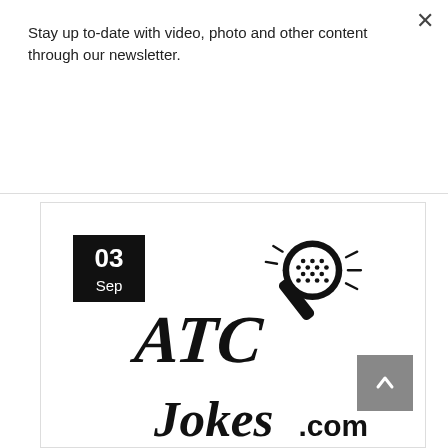Stay up to-date with video, photo and other content through our newsletter.
Subscribe
[Figure (logo): ATC Jokes.com logo with a microphone illustration above stylized hand-lettered text reading 'ATC Jokes.com']
03 Sep